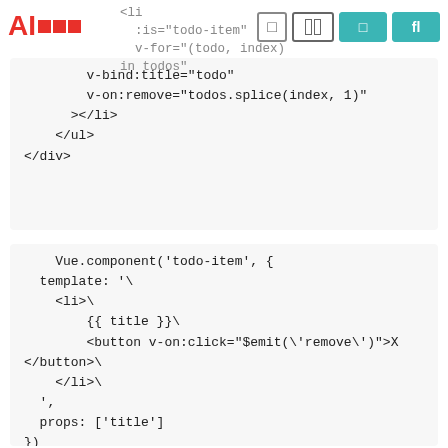AI [logo with squares] | icons
v-bind:title="todo"
            v-on:remove="todos.splice(index, 1)"
        ></li>
    </ul>
</div>
Vue.component('todo-item', {
  template: '\
    <li>\
        {{ title }}\
        <button v-on:click="$emit(\'remove\')">X
</button>\
    </li>\
  ',
  props: ['title']
})
new Vue({
  el: '#todo-list-example',
  data: {
    newTodoText: ''